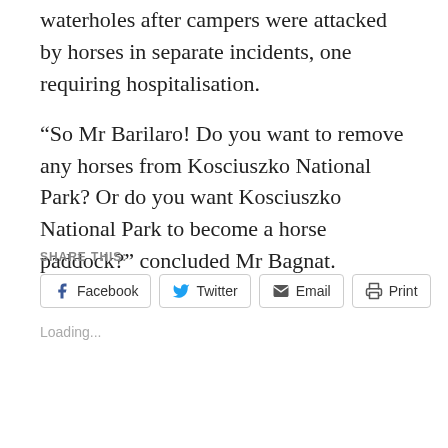waterholes after campers were attacked by horses in separate incidents, one requiring hospitalisation.
“So Mr Barilaro! Do you want to remove any horses from Kosciuszko National Park? Or do you want Kosciuszko National Park to become a horse paddock?” concluded Mr Bagnat.
SHARE THIS:
Facebook  Twitter  Email  Print
Loading...